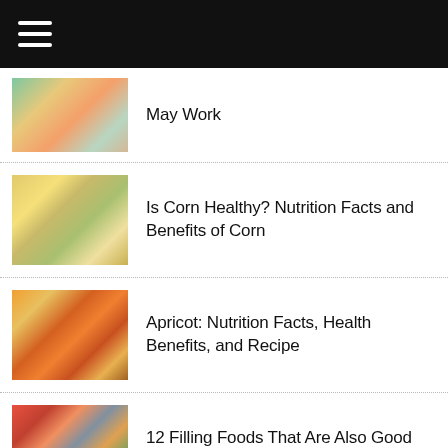Navigation menu (hamburger icon on black bar)
May Work
Is Corn Healthy? Nutrition Facts and Benefits of Corn
Apricot: Nutrition Facts, Health Benefits, and Recipe
12 Filling Foods That Are Also Good for You
Advertisement